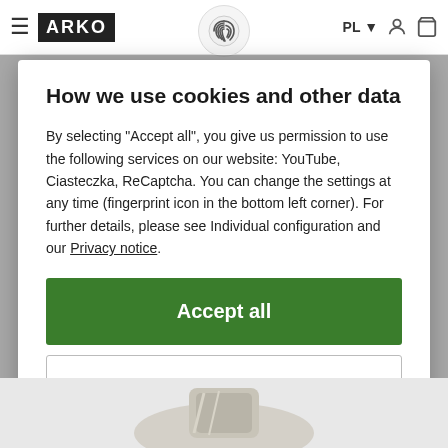≡  ARKO  [fingerprint icon]  PL ▾  [user icon]  [cart icon]
How we use cookies and other data
By selecting "Accept all", you give us permission to use the following services on our website: YouTube, Ciasteczka, ReCaptcha. You can change the settings at any time (fingerprint icon in the bottom left corner). For further details, please see Individual configuration and our Privacy notice.
Accept all
Close
Configuration